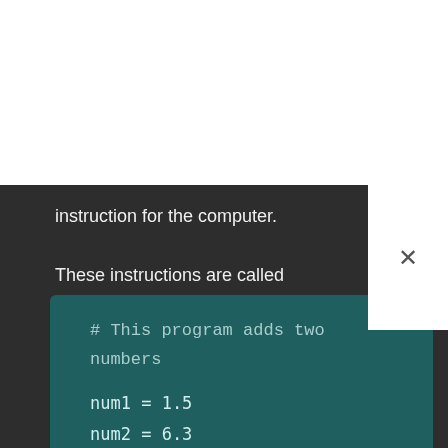instruction for the computer.
These instructions are called code.
All the instructions that make up a program are called the program's source code.
# This program adds two numbers

num1 = 1.5
num2 = 6.3